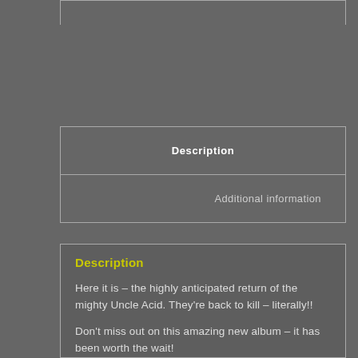Description
Additional information
Description
Here it is – the highly anticipated return of the mighty Uncle Acid. They're back to kill – literally!!
Don't miss out on this amazing new album – it has been worth the wait!
Vinyl editions